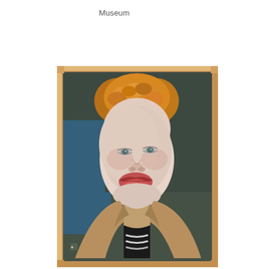Museum
[Figure (illustration): A painted portrait of a person with albinism, featuring short golden/blonde curly hair, pale peachy-pink skin, and light eyes. The subject wears a tan/camel jacket over a black and white striped top. The background is dark grey-green with a blue section on the left side. The painting is displayed in a light natural wood frame, photographed against a white wall.]